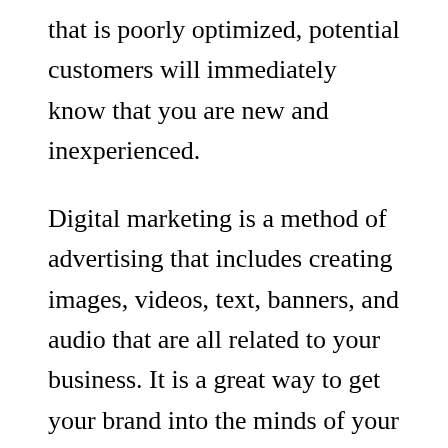that is poorly optimized, potential customers will immediately know that you are new and inexperienced.
Digital marketing is a method of advertising that includes creating images, videos, text, banners, and audio that are all related to your business. It is a great way to get your brand into the minds of your customers.
Digital marketing helps your customers to form a connection with your brand. It is an